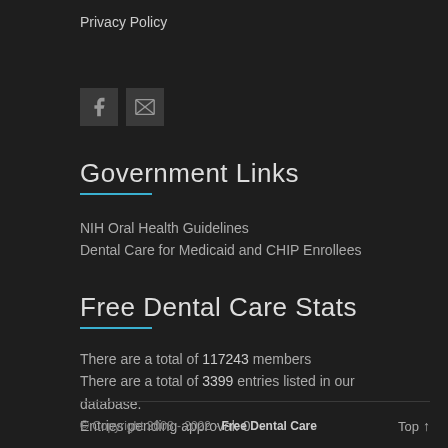Privacy Policy
[Figure (infographic): Two social media icon buttons: Facebook (f) and email/message (envelope with X)]
Government Links
NIH Oral Health Guidelines
Dental Care for Medicaid and CHIP Enrollees
Free Dental Care Stats
There are a total of 117243 members
There are a total of 3399 entries listed in our database.
Entries pending approval: 0
© Copyright 2008 - 2022 - Free Dental Care    Top ↑